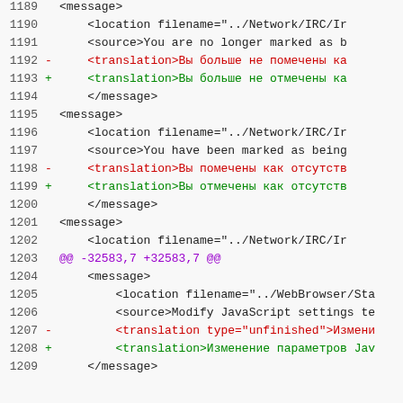Code diff view showing XML translation file changes, lines 1189-1209
1189     <message>
1190         <location filename="../Network/IRC/Ir
1191         <source>You are no longer marked as b
1192 -       <translation>Вы больше не помечены ка
1193 +       <translation>Вы больше не отмечены ка
1194     </message>
1195     <message>
1196         <location filename="../Network/IRC/Ir
1197         <source>You have been marked as being
1198 -       <translation>Вы помечены как отсутств
1199 +       <translation>Вы отмечены как отсутств
1200     </message>
1201     <message>
1202         <location filename="../Network/IRC/Ir
1203 @@ -32583,7 +32583,7 @@
1204     <message>
1205         <location filename="../WebBrowser/Sta
1206         <source>Modify JavaScript settings te
1207 -       <translation type="unfinished">Измени
1208 +       <translation>Изменение параметров Jav
1209     </message>